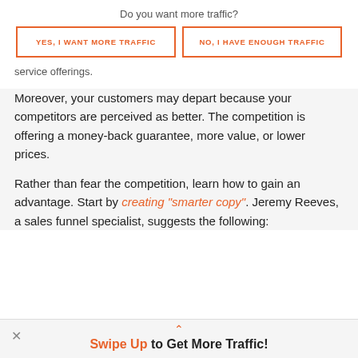Do you want more traffic?
YES, I WANT MORE TRAFFIC
NO, I HAVE ENOUGH TRAFFIC
service offerings.
Moreover, your customers may depart because your competitors are perceived as better. The competition is offering a money-back guarantee, more value, or lower prices.
Rather than fear the competition, learn how to gain an advantage. Start by creating “smarter copy”. Jeremy Reeves, a sales funnel specialist, suggests the following:
Swipe Up to Get More Traffic!